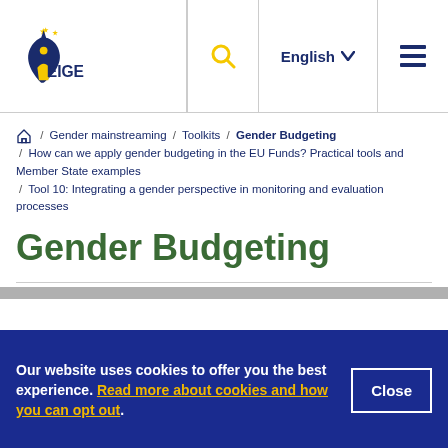EIGE | English | Search | Menu
Home / Gender mainstreaming / Toolkits / Gender Budgeting / How can we apply gender budgeting in the EU Funds? Practical tools and Member State examples / Tool 10: Integrating a gender perspective in monitoring and evaluation processes
Gender Budgeting
Our website uses cookies to offer you the best experience. Read more about cookies and how you can opt out.